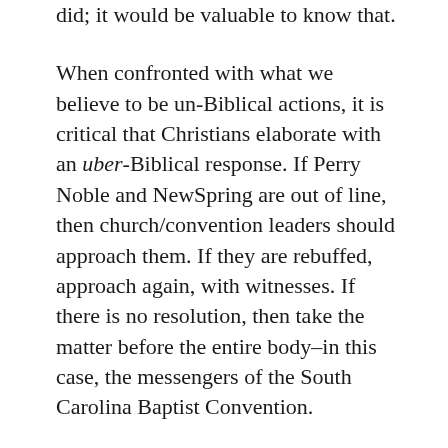did; it would be valuable to know that.
When confronted with what we believe to be un-Biblical actions, it is critical that Christians elaborate with an uber-Biblical response. If Perry Noble and NewSpring are out of line, then church/convention leaders should approach them. If they are rebuffed, approach again, with witnesses. If there is no resolution, then take the matter before the entire body–in this case, the messengers of the South Carolina Baptist Convention.
Some might argue that Noble and the church are notorious for ignoring criticism and such an approach would do no good. Perhaps this is true. But my concern is not what NewSpring